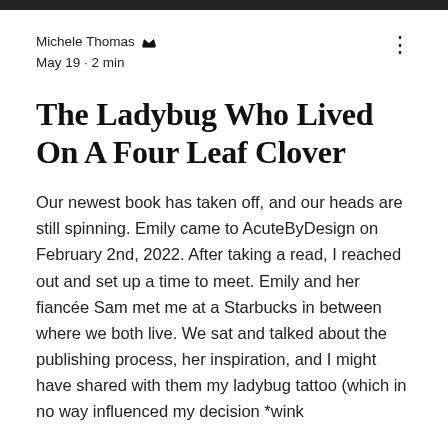Michele Thomas 👑
May 19 · 2 min
The Ladybug Who Lived On A Four Leaf Clover
Our newest book has taken off, and our heads are still spinning. Emily came to AcuteByDesign on February 2nd, 2022. After taking a read, I reached out and set up a time to meet. Emily and her fiancée Sam met me at a Starbucks in between where we both live. We sat and talked about the publishing process, her inspiration, and I might have shared with them my ladybug tattoo (which in no way influenced my decision *wink